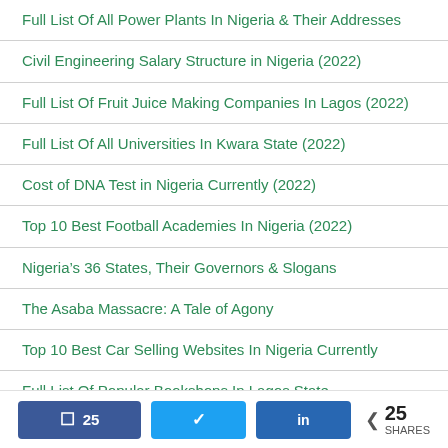Full List Of All Power Plants In Nigeria & Their Addresses
Civil Engineering Salary Structure in Nigeria (2022)
Full List Of Fruit Juice Making Companies In Lagos (2022)
Full List Of All Universities In Kwara State (2022)
Cost of DNA Test in Nigeria Currently (2022)
Top 10 Best Football Academies In Nigeria (2022)
Nigeria’s 36 States, Their Governors & Slogans
The Asaba Massacre: A Tale of Agony
Top 10 Best Car Selling Websites In Nigeria Currently
Full List Of Popular Bookshops In Lagos State